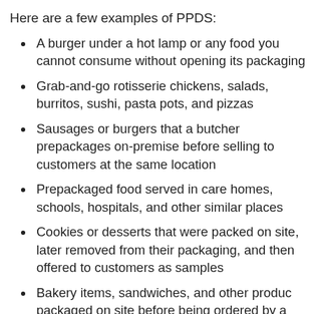Here are a few examples of PPDS:
A burger under a hot lamp or any food you cannot consume without opening its packaging
Grab-and-go rotisserie chickens, salads, burritos, sushi, pasta pots, and pizzas
Sausages or burgers that a butcher prepackages on-premise before selling to customers at the same location
Prepackaged food served in care homes, schools, hospitals, and other similar places
Cookies or desserts that were packed on site, later removed from their packaging, and then offered to customers as samples
Bakery items, sandwiches, and other products packaged on site before being ordered by a